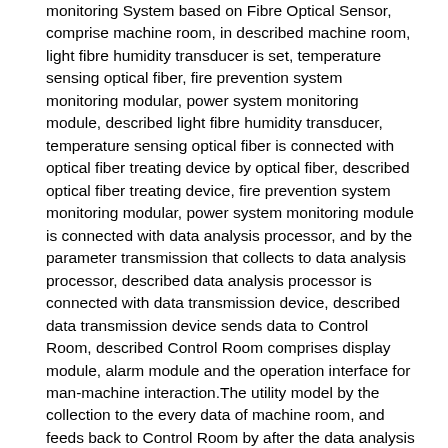monitoring System based on Fibre Optical Sensor, comprise machine room, in described machine room, light fibre humidity transducer is set, temperature sensing optical fiber, fire prevention system monitoring modular, power system monitoring module, described light fibre humidity transducer, temperature sensing optical fiber is connected with optical fiber treating device by optical fiber, described optical fiber treating device, fire prevention system monitoring modular, power system monitoring module is connected with data analysis processor, and by the parameter transmission that collects to data analysis processor, described data analysis processor is connected with data transmission device, described data transmission device sends data to Control Room, described Control Room comprises display module, alarm module and the operation interface for man-machine interaction.The utility model by the collection to the every data of machine room, and feeds back to Control Room by after the data analysis collected, and Control Room staff can be no longer on-the-spot, just can realize the conduct monitoring at all levels of machine room, ensure machine room stable operation.